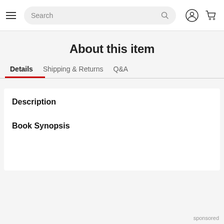[Figure (screenshot): Navigation bar with hamburger menu, search box, user account icon, and shopping cart icon]
About this item
Details | Shipping & Returns | Q&A
Description
Book Synopsis
sponsored